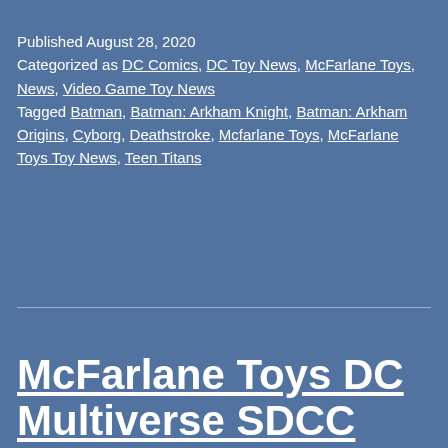Published August 28, 2020
Categorized as DC Comics, DC Toy News, McFarlane Toys, News, Video Game Toy News
Tagged Batman, Batman: Arkham Knight, Batman: Arkham Origins, Cyborg, Deathstroke, Mcfarlane Toys, McFarlane Toys Toy News, Teen Titans
McFarlane Toys DC Multiverse SDCC 2020